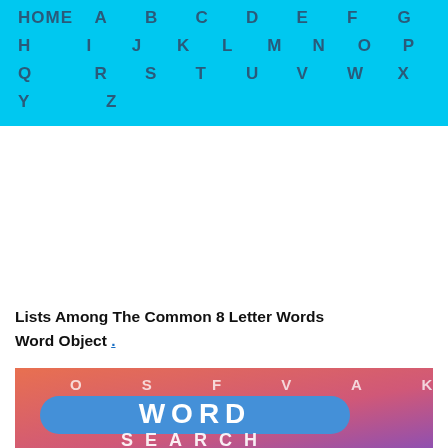HOME  A  B  C  D  E  F  G  H  I  J  K  L  M  N  O  P  Q  R  S  T  U  V  W  X  Y  Z
Lists Among The Common 8 Letter Words Word Object .
[Figure (illustration): Word Search app icon/graphic showing a gradient orange-to-purple background with letters O S F V A K scattered at top, a blue rounded rectangle pill shape containing the bold white text WORD, then SEARCH in large white letters below, and smaller faded letters B N O P W V and L N W I P H at the bottom.]